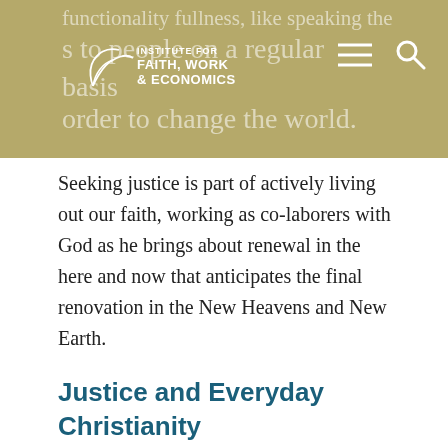functionality fullness, like speaking the [logo: Institute for Faith, Work & Economics] s to people on a regular basis in order to change the world.
Seeking justice is part of actively living out our faith, working as co-laborers with God as he brings about renewal in the here and now that anticipates the final renovation in the New Heavens and New Earth.
Justice and Everyday Christianity
Though it may seem like this is best done by experts and religious professionals, there is so much work that a few specialists cannot hope to accomplish it all.
In fact, authors, speakers, and pastors are the least able to practically change the world. They fill important